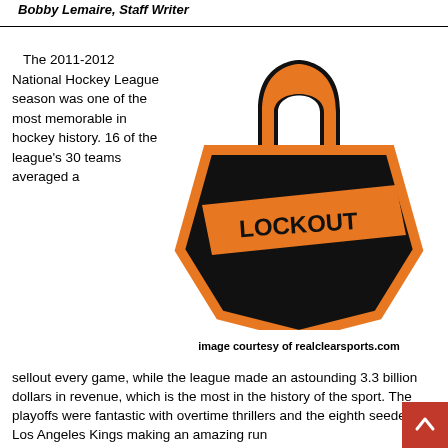Bobby Lemaire, Staff Writer
[Figure (illustration): NHL lockout logo — a padlock shaped like the NHL shield with the word LOCKOUT written diagonally across it in orange on a black background]
image courtesy of realclearsports.com
The 2011-2012 National Hockey League season was one of the most memorable in hockey history. 16 of the league's 30 teams averaged a sellout every game, while the league made an astounding 3.3 billion dollars in revenue, which is the most in the history of the sport. The playoffs were fantastic with overtime thrillers and the eighth seeded Los Angeles Kings making an amazing run